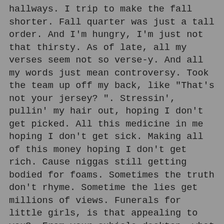hallways. I trip to make the fall shorter. Fall quarter was just a tall order. And I'm hungry, I'm just not that thirsty. As of late, all my verses seem not so verse-y. And all my words just mean controversy. Took the team up off my back, like "That's not your jersey? ". Stressin', pullin' my hair out, hoping I don't get picked. All this medicine in me hoping I don't get sick. Making all of this money hoping I don't get rich. Cause niggas still getting bodied for foams. Sometimes the truth don't rhyme. Sometime the lies get millions of views. Funerals for little girls, is that appealing to you?. From your cubicle desktop, what a beautiful view. I think love is beautiful too. Building forts from broken dams,